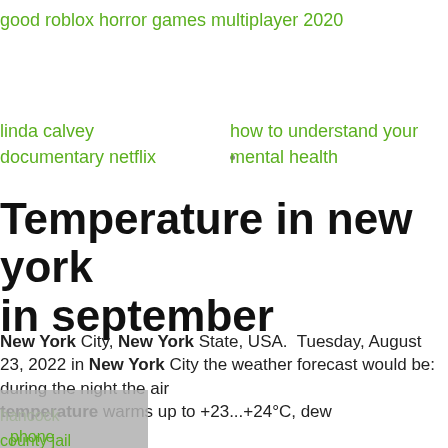good roblox horror games multiplayer 2020
linda calvey documentary netflix
how to understand your mental health
Temperature in new york in september
New York City, New York State, USA. Tuesday, August 23, 2022 in New York City the weather forecast would be: during the night the air temperature warms up to +23...+24°C, dew
hancock
county jail
phone